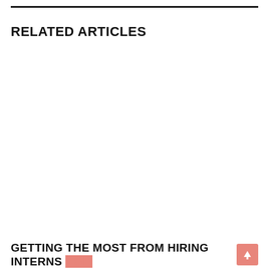RELATED ARTICLES
GETTING THE MOST FROM HIRING INTERNS FOR